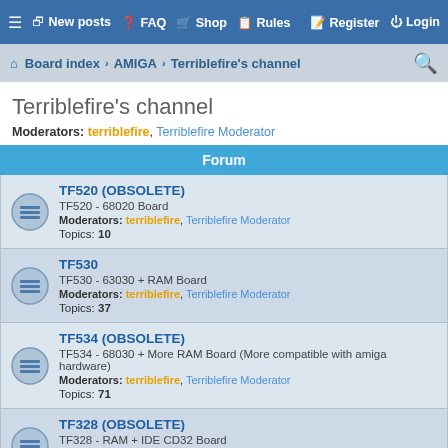≡ New posts | FAQ | Shop | Rules | Register | Login
Board index › AMIGA › Terriblefire's channel
Terriblefire's channel
Moderators: terriblefire, Terriblefire Moderator
Forum
TF520 (OBSOLETE)
TF520 - 68020 Board
Moderators: terriblefire, Terriblefire Moderator
Topics: 10
TF530
TF530 - 63030 + RAM Board
Moderators: terriblefire, Terriblefire Moderator
Topics: 37
TF534 (OBSOLETE)
TF534 - 68030 + More RAM Board (More compatible with amiga hardware)
Moderators: terriblefire, Terriblefire Moderator
Topics: 71
TF328 (OBSOLETE)
TF328 - RAM + IDE CD32 Board
Moderators: terriblefire, Terriblefire Moderator
Topics: 8
TF330
68030 + SDRAM + IDE